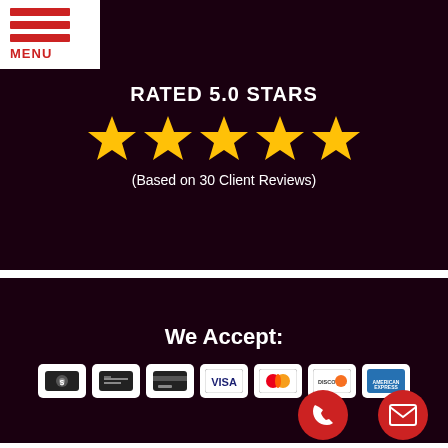MENU
RATED 5.0 STARS
[Figure (infographic): Five gold stars rating]
(Based on 30 Client Reviews)
We Accept:
[Figure (infographic): Payment method icons: cash, check, credit card, Visa, Mastercard, Discover, American Express]
Client Review
We love our new sign!
[Figure (infographic): Five gold stars rating for client review]
We love our new sign! They had a VERY FAST turn around time and very nice to work with! THANK YOU Stephen and Scott!... read more